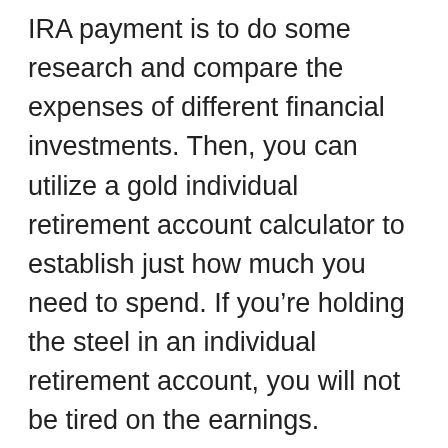IRA payment is to do some research and compare the expenses of different financial investments. Then, you can utilize a gold individual retirement account calculator to establish just how much you need to spend. If you’re holding the steel in an individual retirement account, you will not be tired on the earnings. However, you’ll require a custodian to make sure that your gold IRA is tax-free.
There are other benefits to holding steel in a gold individual retirement account. The metals can be offered in retired life without incurring taxation. You may require to employ a custodian for the metal you’re